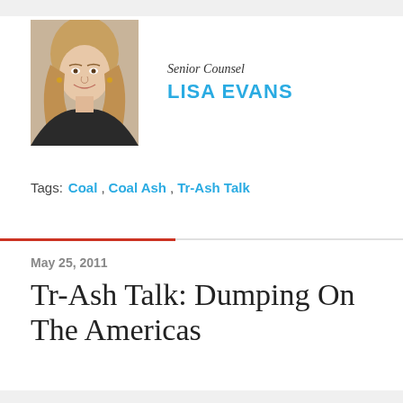[Figure (photo): Headshot photo of Lisa Evans, a woman with blonde hair, smiling, wearing a dark jacket]
Senior Counsel
LISA EVANS
Tags:  Coal, Coal Ash, Tr-Ash Talk
May 25, 2011
Tr-Ash Talk: Dumping On The Americas